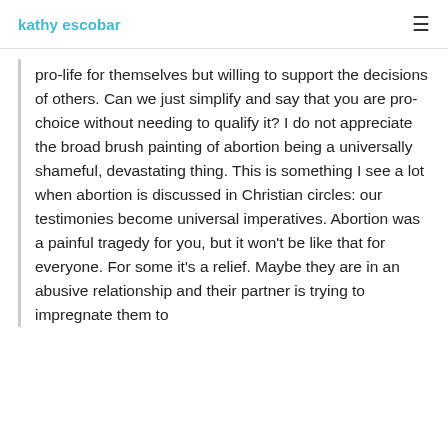kathy escobar
pro-life for themselves but willing to support the decisions of others. Can we just simplify and say that you are pro-choice without needing to qualify it? I do not appreciate the broad brush painting of abortion being a universally shameful, devastating thing. This is something I see a lot when abortion is discussed in Christian circles: our testimonies become universal imperatives. Abortion was a painful tragedy for you, but it won't be like that for everyone. For some it's a relief. Maybe they are in an abusive relationship and their partner is trying to impregnate them to